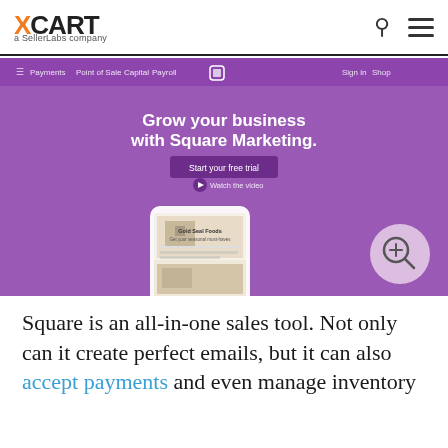XCART a SellerLabs company
[Figure (screenshot): Screenshot of Square Marketing website showing purple hero section with text 'Grow your business with Square Marketing.' and a 'Start your free trial' button, along with a mobile phone mockup displaying an email campaign preview. A zoom-in circle icon is visible in the bottom right.]
Square is an all-in-one sales tool. Not only can it create perfect emails, but it can also accept payments and even manage inventory